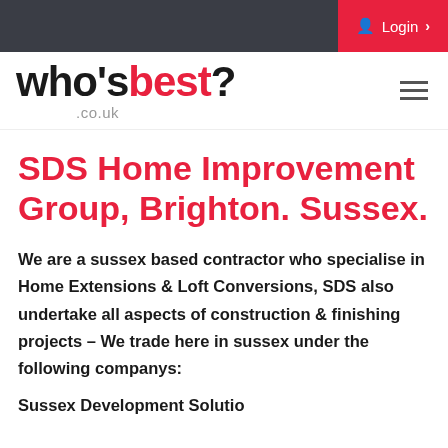Login
[Figure (logo): whosbest?.co.uk logo with navigation hamburger menu]
SDS Home Improvement Group, Brighton. Sussex.
We are a sussex based contractor who specialise in Home Extensions & Loft Conversions, SDS also undertake all aspects of construction & finishing projects – We trade here in sussex under the following companys:
Sussex Development Solutions